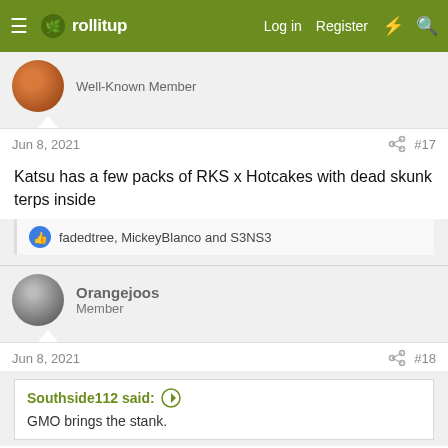Rollitup — Log in | Register
Well-Known Member
Jun 8, 2021 #17
Katsu has a few packs of RKS x Hotcakes with dead skunk terps inside
fadedtree, MickeyBlanco and S3NS3
Orangejoos
Member
Jun 8, 2021 #18
Southside112 said: ↑
GMO brings the stank.
Ya'll got a link? Is GMO A brand?